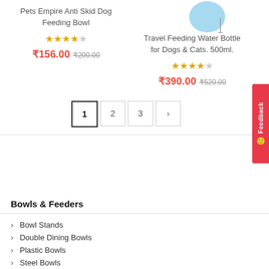Pets Empire Anti Skid Dog Feeding Bowl
★★★★☆ 4 stars
₹156.00 ₹200.00
[Figure (illustration): Partial view of a blue travel water bottle for pets]
Travel Feeding Water Bottle for Dogs & Cats. 500ml.
★★★★☆ 4 stars
₹390.00 ₹520.00
Pagination: 1 2 3 ›
Bowls & Feeders
Bowl Stands
Double Dining Bowls
Plastic Bowls
Steel Bowls